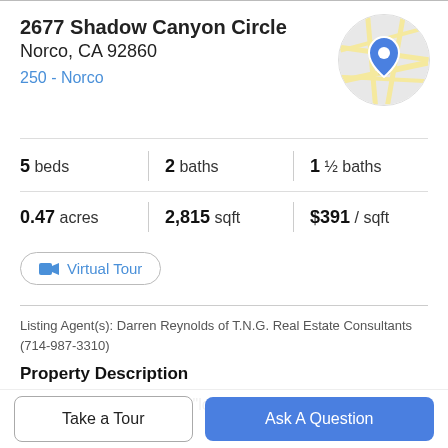2677 Shadow Canyon Circle
Norco, CA 92860
250 - Norco
[Figure (map): Circular map thumbnail showing street map with blue location pin marker]
5 beds   2 baths   1 ½ baths
0.47 acres   2,815 sqft   $391 / sqft
Virtual Tour
Listing Agent(s): Darren Reynolds of T.N.G. Real Estate Consultants (714-987-3310)
Property Description
When people talk about "location, location, location" this is
Take a Tour
Ask A Question